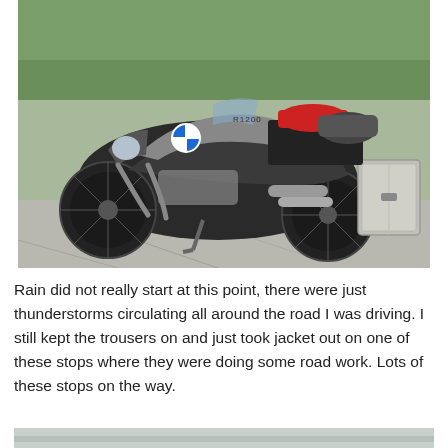[Figure (photo): BMW R1200GS adventure motorcycle loaded with luggage, panniers, and a red bag on the rear, parked on a concrete surface with green trees in the background.]
Rain did not really start at this point, there were just thunderstorms circulating all around the road I was driving. I still kept the trousers on and just took jacket out on one of these stops where they were doing some road work. Lots of these stops on the way.
[Figure (photo): Partial view of another photo at the bottom of the page, mostly cut off.]